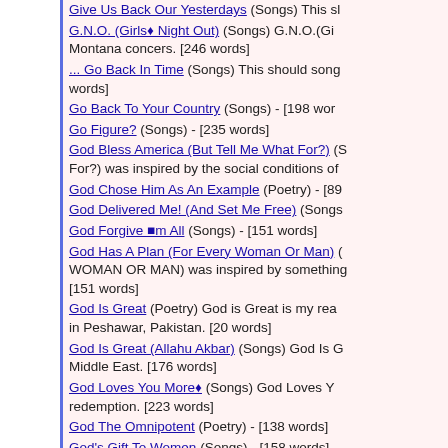Give Us Back Our Yesterdays (Songs) This s…
G.N.O. (Girls❧ Night Out) (Songs) G.N.O.(Gi… Montana concers. [246 words]
... Go Back In Time (Songs) This should song… words]
Go Back To Your Country (Songs) - [198 wor…
Go Figure? (Songs) - [235 words]
God Bless America (But Tell Me What For?) (S… For?) was inspired by the social conditions of…
God Chose Him As An Example (Poetry) - [89…
God Delivered Me! (And Set Me Free) (Songs…
God Forgive ❧m All (Songs) - [151 words]
God Has A Plan (For Every Woman Or Man) (… WOMAN OR MAN) was inspired by something… [151 words]
God Is Great (Poetry) God is Great is my rea… in Peshawar, Pakistan. [20 words]
God Is Great (Allahu Akbar) (Songs) God Is G… Middle East. [176 words]
God Loves You More❧ (Songs) God Loves Y… redemption. [223 words]
God The Omnipotent (Poetry) - [138 words]
God's Gift To Women (Songs) - [158 words]
God's Heavenly Table (Songs) God's Heaven… heard. [275 words]
Going Clear (Songs) Going Clear was inspire… words]